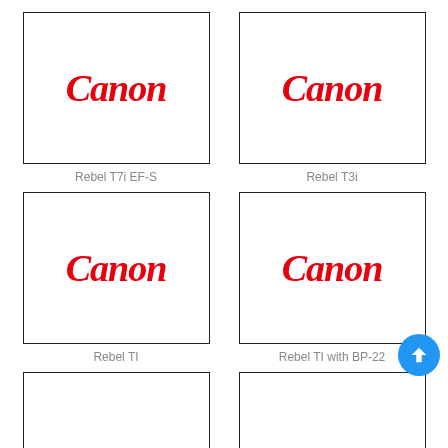[Figure (logo): Canon logo in red italic serif font inside a bordered box]
Rebel T7i EF-S
[Figure (logo): Canon logo in red italic serif font inside a bordered box]
Rebel T3i
[Figure (logo): Canon logo in red italic serif font inside a bordered box]
Rebel TI
[Figure (logo): Canon logo in red italic serif font inside a bordered box]
Rebel TI with BP-22
[Figure (logo): Canon logo in red italic serif font inside a bordered box (partial, bottom cut off)]
[Figure (logo): Canon logo in red italic serif font inside a bordered box (partial, bottom cut off)]